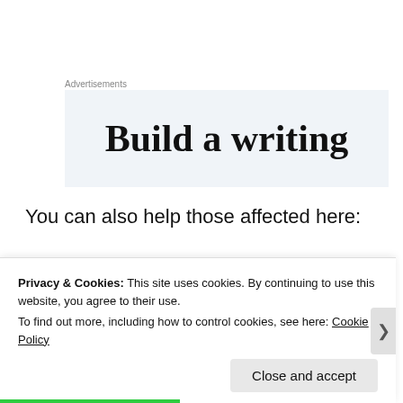Advertisements
[Figure (other): Advertisement banner showing partial text 'Build a writing' on a light blue-grey background]
You can also help those affected here:
http://onefundboston.org/
Advertisements
Privacy & Cookies: This site uses cookies. By continuing to use this website, you agree to their use.
To find out more, including how to control cookies, see here: Cookie Policy